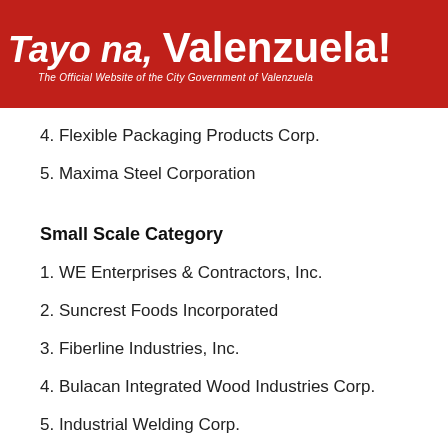Tayo na, Valenzuela! The Official Website of the City Government of Valenzuela
4. Flexible Packaging Products Corp.
5. Maxima Steel Corporation
Small Scale Category
1. WE Enterprises & Contractors, Inc.
2. Suncrest Foods Incorporated
3. Fiberline Industries, Inc.
4. Bulacan Integrated Wood Industries Corp.
5. Industrial Welding Corp.
Micro Scale Category